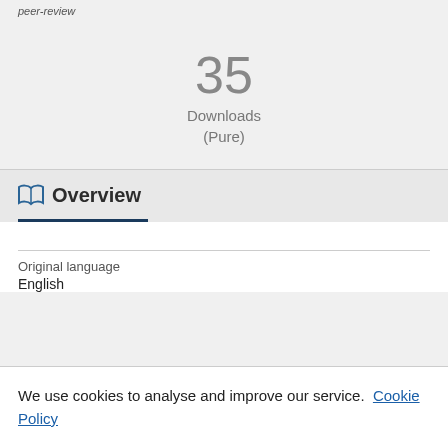peer-review
35
Downloads
(Pure)
Overview
Original language
English
We use cookies to analyse and improve our service. Cookie Policy